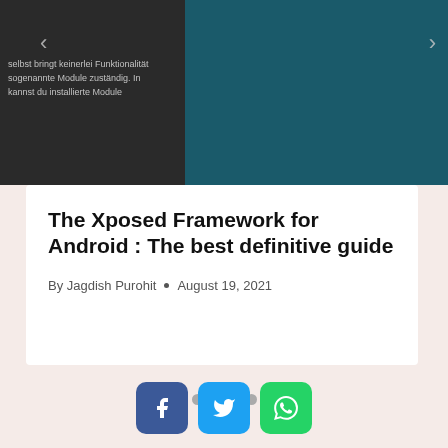[Figure (screenshot): Screenshot of a slideshow/carousel with dark left panel showing German text overlay and navigation arrow, and dark teal right panel with right navigation arrow]
The Xposed Framework for Android : The best definitive guide
By Jagdish Purohit • August 19, 2021
[Figure (other): Carousel navigation dots — 6 dots, first one filled/active dark, rest light gray]
[Figure (other): Social share buttons: Facebook (blue), Twitter (blue), WhatsApp (green)]